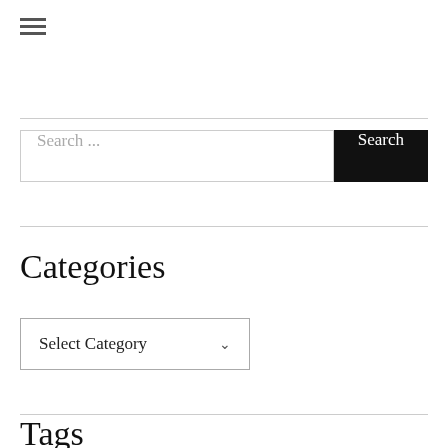[Figure (other): Hamburger menu icon (three horizontal lines)]
Search ...
Search
Categories
Select Category
Tags